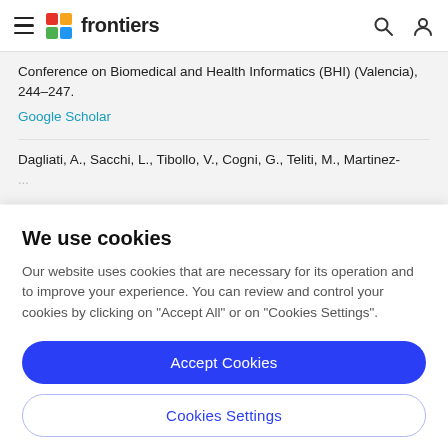frontiers
Conference on Biomedical and Health Informatics (BHI) (Valencia), 244–247.
Google Scholar
Dagliati, A., Sacchi, L., Tibollo, V., Cogni, G., Teliti, M., Martinez-...
We use cookies
Our website uses cookies that are necessary for its operation and to improve your experience. You can review and control your cookies by clicking on "Accept All" or on "Cookies Settings".
Accept Cookies
Cookies Settings